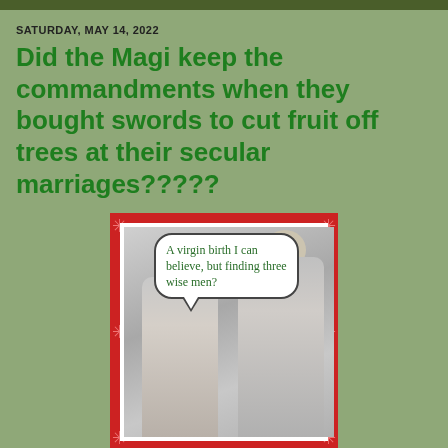SATURDAY, MAY 14, 2022
Did the Magi keep the commandments when they bought swords to cut fruit off trees at their secular marriages?????
[Figure (illustration): A humorous greeting card image showing two elderly women in black and white photo talking over teacups, with a speech bubble reading: 'A virgin birth I can believe, but finding three wise men?' The card has a red border with snowflake decorations.]